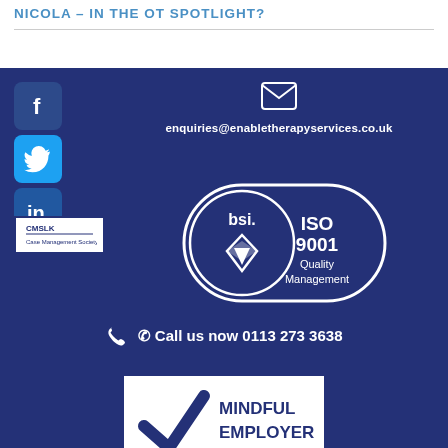NICOLA – IN THE OT SPOTLIGHT?
[Figure (infographic): Footer section with dark blue background containing social media icons (Facebook, Twitter, LinkedIn), email address, BSI ISO 9001 Quality Management certification logo, CMSLK logo, phone number, and Mindful Employer badge]
enquiries@enabletherapyservices.co.uk
Call us now 0113 273 3638
[Figure (logo): BSI ISO 9001 Quality Management certification badge]
[Figure (logo): CMSLK logo badge]
[Figure (logo): Mindful Employer badge with blue checkmark]